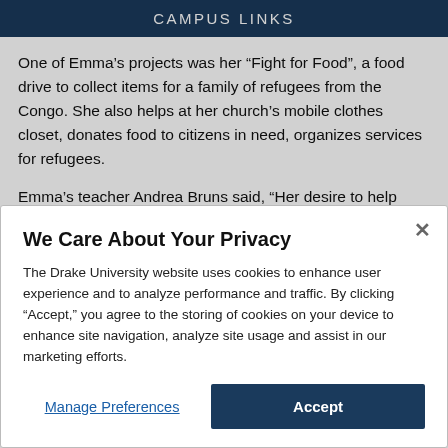CAMPUS LINKS
One of Emma’s projects was her “Fight for Food”, a food drive to collect items for a family of refugees from the Congo. She also helps at her church’s mobile clothes closet, donates food to citizens in need, organizes services for refugees.
Emma’s teacher Andrea Bruns said, “Her desire to help
We Care About Your Privacy
The Drake University website uses cookies to enhance user experience and to analyze performance and traffic. By clicking "Accept," you agree to the storing of cookies on your device to enhance site navigation, analyze site usage and assist in our marketing efforts.
Manage Preferences
Accept